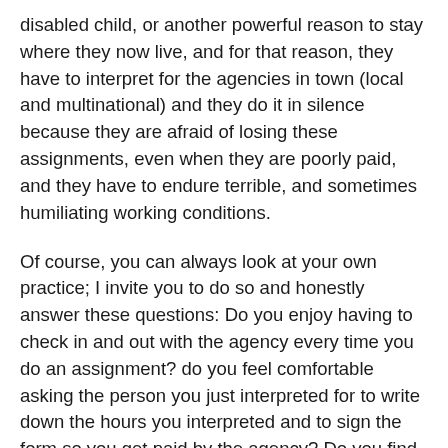disabled child, or another powerful reason to stay where they now live, and for that reason, they have to interpret for the agencies in town (local and multinational) and they do it in silence because they are afraid of losing these assignments, even when they are poorly paid, and they have to endure terrible, and sometimes humiliating working conditions.
Of course, you can always look at your own practice; I invite you to do so and honestly answer these questions: Do you enjoy having to check in and out with the agency every time you do an assignment? do you feel comfortable asking the person you just interpreted for to write down the hours you interpreted and to sign the form so you get paid by the agency? Do you find amusing having to spend hours on the phone and writing emails so you can get paid for a last-minute canceled assignment the agency does